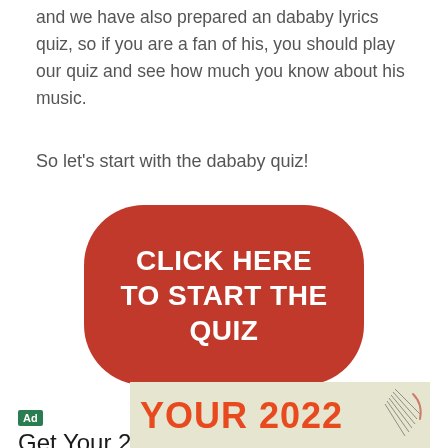and we have also prepared an dababy lyrics quiz, so if you are a fan of his, you should play our quiz and see how much you know about his music.
So let's start with the dababy quiz!
[Figure (other): Large red rounded button with white bold text: CLICK HERE TO START THE QUIZ]
[Figure (other): Advertisement banner: Ad label, arrows icon and X icon, heading 'Get Your 2022 Horoscope', image with orange text 'YOUR 2022']